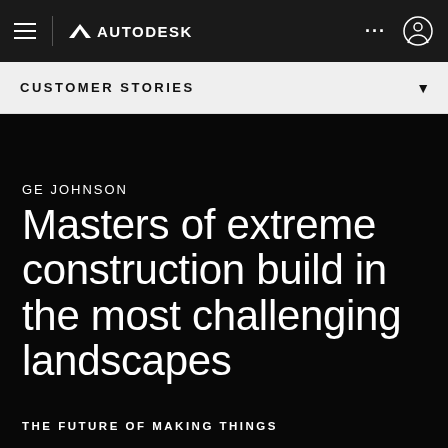AUTODESK
CUSTOMER STORIES
GE JOHNSON
Masters of extreme construction build in the most challenging landscapes
THE FUTURE OF MAKING THINGS